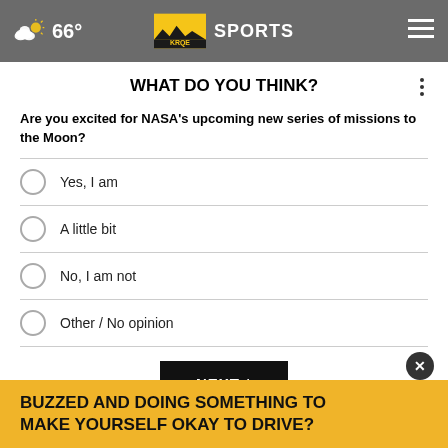66° KRQE SPORTS
WHAT DO YOU THINK?
Are you excited for NASA's upcoming new series of missions to the Moon?
Yes, I am
A little bit
No, I am not
Other / No opinion
NEXT *
* By clicking "NEXT" you agree to the following: We use cookies to track your survey answers. If you would like to continue with this survey please read and agree to the CivicScience Privacy Policy and Terms of Service.
BUZZED AND DOING SOMETHING TO MAKE YOURSELF OKAY TO DRIVE?